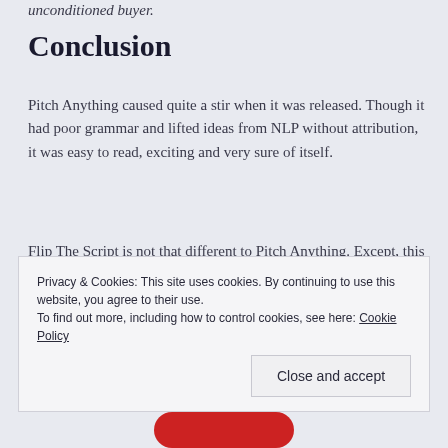unconditioned buyer.
Conclusion
Pitch Anything caused quite a stir when it was released. Though it had poor grammar and lifted ideas from NLP without attribution, it was easy to read, exciting and very sure of itself.
Flip The Script is not that different to Pitch Anything. Except, this time the reader is an educated reader and that's why I'm just not buying Flip The Script.
Privacy & Cookies: This site uses cookies. By continuing to use this website, you agree to their use.
To find out more, including how to control cookies, see here: Cookie Policy
Close and accept